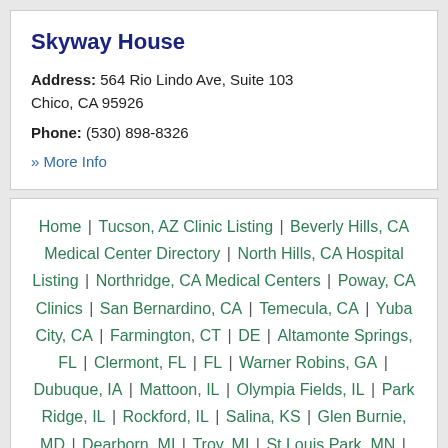Skyway House
Address: 564 Rio Lindo Ave, Suite 103 Chico, CA 95926
Phone: (530) 898-8326
» More Info
Home | Tucson, AZ Clinic Listing | Beverly Hills, CA Medical Center Directory | North Hills, CA Hospital Listing | Northridge, CA Medical Centers | Poway, CA Clinics | San Bernardino, CA | Temecula, CA | Yuba City, CA | Farmington, CT | DE | Altamonte Springs, FL | Clermont, FL | FL | Warner Robins, GA | Dubuque, IA | Mattoon, IL | Olympia Fields, IL | Park Ridge, IL | Rockford, IL | Salina, KS | Glen Burnie, MD | Dearborn, MI | Troy, MI | St Louis Park, MN | Hattiesburg, MS |